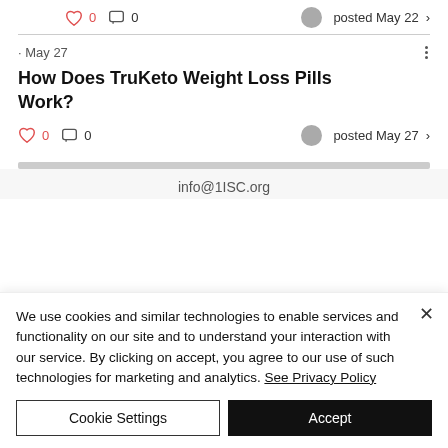0  0  posted May 22 >
· May 27
How Does TruKeto Weight Loss Pills Work?
0  0  posted May 27 >
info@1ISC.org
We use cookies and similar technologies to enable services and functionality on our site and to understand your interaction with our service. By clicking on accept, you agree to our use of such technologies for marketing and analytics. See Privacy Policy